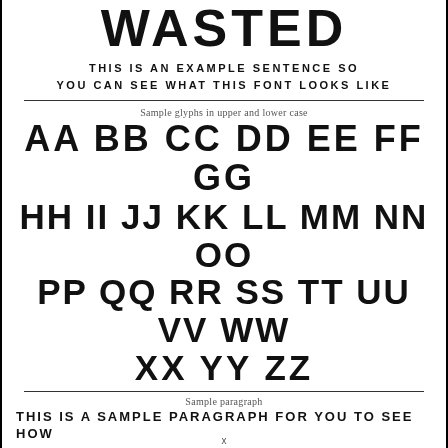WASTED
THIS IS AN EXAMPLE SENTENCE SO YOU CAN SEE WHAT THIS FONT LOOKS LIKE
Sample glyphs in upper and lower case
AA BB CC DD EE FF GG HH II JJ KK LL MM NN OO PP QQ RR SS TT UU VV WW XX YY ZZ
Sample paragraph
THIS IS A SAMPLE PARAGRAPH FOR YOU TO SEE HOW